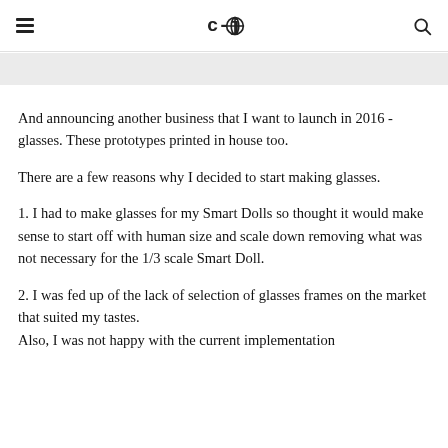≡  🌐  [CJ logo]  🔍
And announcing another business that I want to launch in 2016 - glasses. These prototypes printed in house too.
There are a few reasons why I decided to start making glasses.
1. I had to make glasses for my Smart Dolls so thought it would make sense to start off with human size and scale down removing what was not necessary for the 1/3 scale Smart Doll.
2. I was fed up of the lack of selection of glasses frames on the market that suited my tastes.
Also, I was not happy with the current implementation